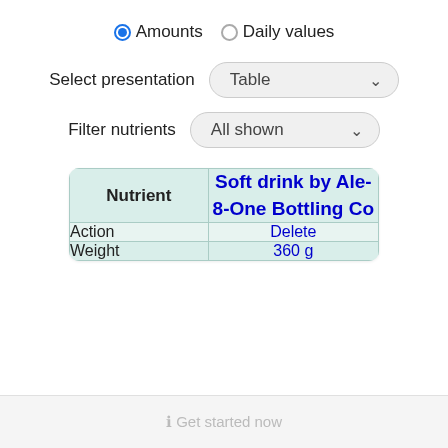Amounts  Daily values
Select presentation  Table
Filter nutrients  All shown
| Nutrient | Soft drink by Ale-8-One Bottling Co |
| --- | --- |
| Action | Delete |
| Weight | 360 g |
ℹ Get started now